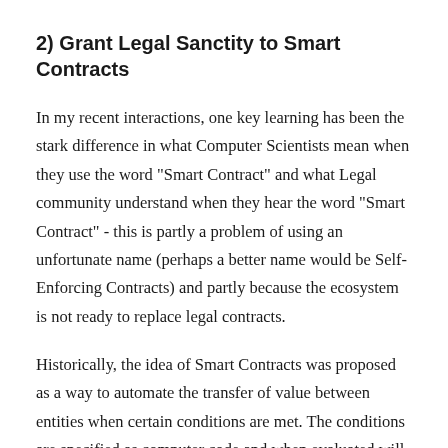2) Grant Legal Sanctity to Smart Contracts
In my recent interactions, one key learning has been the stark difference in what Computer Scientists mean when they use the word "Smart Contract" and what Legal community understand when they hear the word "Smart Contract" - this is partly a problem of using an unfortunate name (perhaps a better name would be Self-Enforcing Contracts) and partly because the ecosystem is not ready to replace legal contracts.
Historically, the idea of Smart Contracts was proposed as a way to automate the transfer of value between entities when certain conditions are met. The conditions are specified as computer code and when evaluated will automatically transfer value. Smart Contracts are therefore best thought of